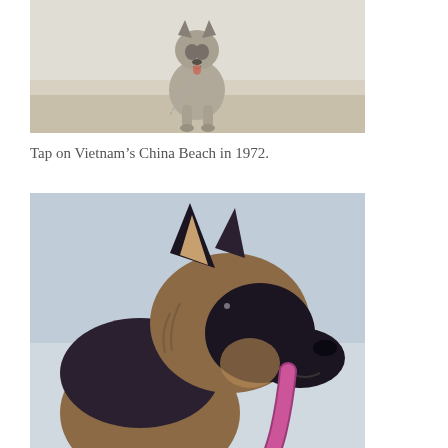[Figure (photo): A dog (German Shepherd) sitting on a beach on a leash, viewed from the front, black and tan coloring, photographed at China Beach Vietnam in 1972. Grayscale/muted tones.]
Tap on Vietnam’s China Beach in 1972.
[Figure (photo): Close-up profile portrait of a German Shepherd dog with mouth open and tongue out, black and tan coloring, vibrant color photograph with light blue-grey background.]